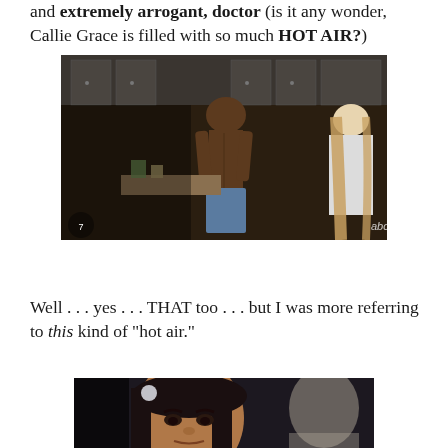and extremely arrogant, doctor (is it any wonder, Callie Grace is filled with so much HOT AIR?)
[Figure (photo): Screenshot from Grey's Anatomy showing a shirtless man standing in a locker room with a woman with long hair facing away from the camera. ABC and ABC7 watermarks visible.]
Well . . . yes . . . THAT too . . . but I was more referring to this kind of "hot air."
[Figure (photo): Screenshot from Grey's Anatomy showing a close-up of a dark-haired woman with an annoyed or skeptical expression, with a blurred figure in the background.]